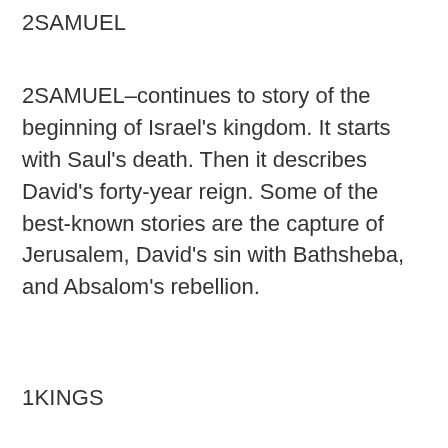2SAMUEL
2SAMUEL–continues to story of the beginning of Israel's kingdom. It starts with Saul's death. Then it describes David's forty-year reign. Some of the best-known stories are the capture of Jerusalem, David's sin with Bathsheba, and Absalom's rebellion.
1KINGS